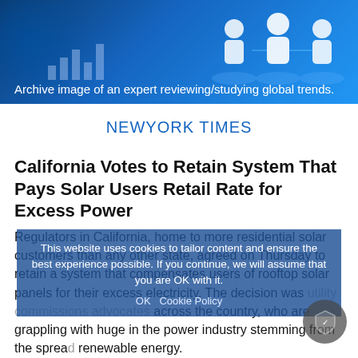[Figure (photo): Archive image of an expert reviewing/studying global trends. Blue-toned banner with business person silhouette, bar chart graphics, and human network icons.]
Archive image of an expert reviewing/studying global trends.
NEWYORK TIMES
California Votes to Retain System That Pays Solar Users Retail Rate for Excess Power
Regulators in California, home to more residential solar customers than any other state, agreed on Thursday to retain a system that compensates users of rooftop solar panels for their excess electricity. The decision was... across the country, who are grappling with huge in the power industry stemming from the spread renewable energy.
This website uses cookies to tailor content and ensure the best experience possible. If you continue, we will assume that you are OK with it.
OK   Cookie Policy